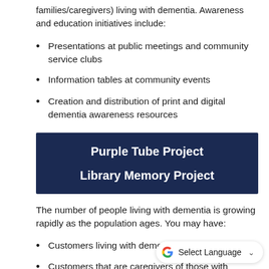families/caregivers) living with dementia. Awareness and education initiatives include:
Presentations at public meetings and community service clubs
Information tables at community events
Creation and distribution of print and digital dementia awareness resources
[Figure (infographic): Dark navy blue box with white bold text: 'Purple Tube Project' and 'Library Memory Project']
The number of people living with dementia is growing rapidly as the population ages. You may have:
Customers living with dementia
Customers that are caregivers of those with dementia